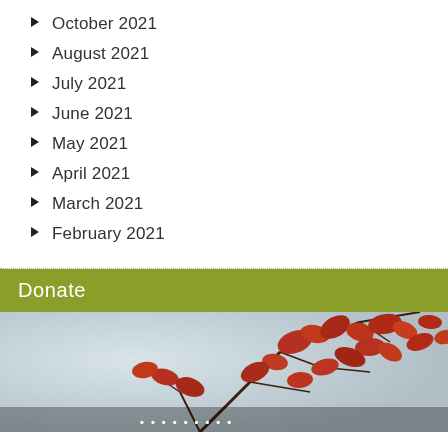October 2021
August 2021
July 2021
June 2021
May 2021
April 2021
March 2021
February 2021
Donate
[Figure (photo): Autumn red leaves on branches against a light sky background]